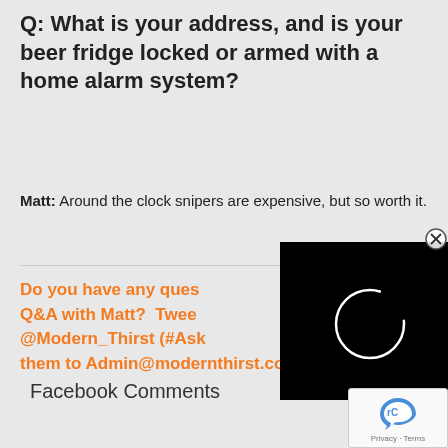Q: What is your address, and is your beer fridge locked or armed with a home alarm system?
Matt: Around the clock snipers are expensive, but so worth it.
Do you have any questions for Q&A with Matt?  Tweet @Modern_Thirst (#Ask...) or email them to Admin@modernthirst.com!
Facebook Comments
[Figure (screenshot): Black video player overlay with a white circular loading spinner, and a close (X) button in the top right corner]